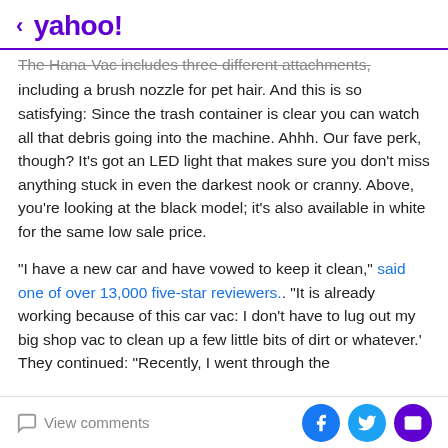< yahoo!
The Hana-Vac includes three different attachments, including a brush nozzle for pet hair. And this is so satisfying: Since the trash container is clear you can watch all that debris going into the machine. Ahhh. Our fave perk, though? It's got an LED light that makes sure you don't miss anything stuck in even the darkest nook or cranny. Above, you're looking at the black model; it's also available in white for the same low sale price.
"I have a new car and have vowed to keep it clean," said one of over 13,000 five-star reviewers.. "It is already working because of this car vac: I don't have to lug out my big shop vac to clean up a few little bits of dirt or whatever.' They continued: "Recently, I went through the
View comments